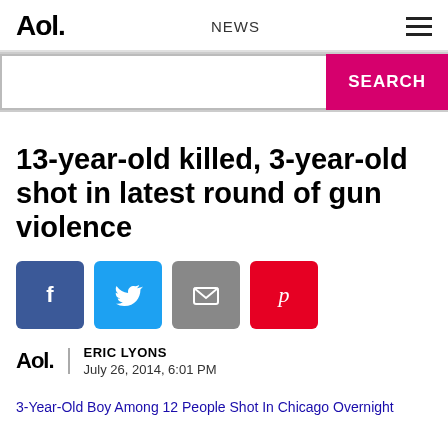Aol. NEWS ☰
[Figure (screenshot): Search bar with pink SEARCH button]
13-year-old killed, 3-year-old shot in latest round of gun violence
[Figure (infographic): Social share buttons: Facebook, Twitter, Email, Pinterest]
ERIC LYONS
July 26, 2014, 6:01 PM
3-Year-Old Boy Among 12 People Shot In Chicago Overnight